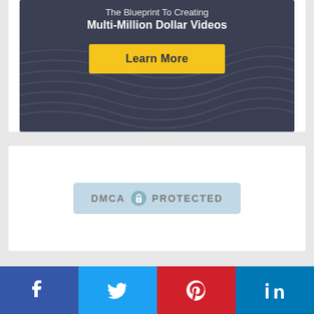[Figure (infographic): Dark banner ad with text 'The Blueprint To Creating Multi-Million Dollar Videos' and a yellow 'Learn More' button on a dark slate background with wave patterns]
[Figure (infographic): DMCA Protected badge with lock icon on a light blue background]
Sensei Review Copyright © 2022
[Figure (infographic): Social share bar with Facebook, Twitter, Pinterest, and LinkedIn icons]